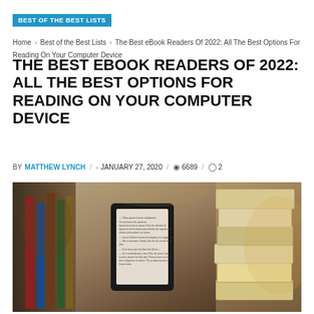BEST OF THE BEST LISTS
Home › Best of the Best Lists › The Best eBook Readers Of 2022: All The Best Options For Reading On Your Computer Device
THE BEST EBOOK READERS OF 2022: ALL THE BEST OPTIONS FOR READING ON YOUR COMPUTER DEVICE
BY MATTHEW LYNCH / JANUARY 27, 2020 / 6689 / 2
[Figure (photo): Photo of an e-reader tablet leaning against a stack of books, with a bookshelf in the background]